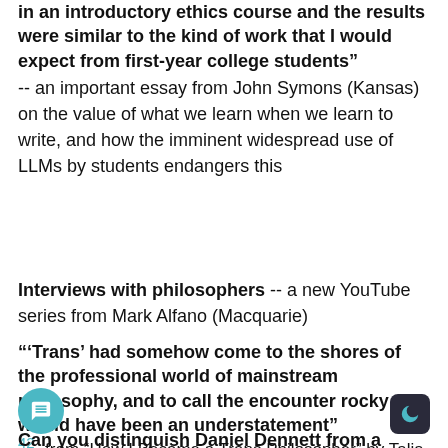in an introductory ethics course and the results were similar to the kind of work that I would expect from first-year college students” -- an important essay from John Symons (Kansas) on the value of what we learn when we learn to write, and how the imminent widespread use of LLMs by students endangers this
Interviews with philosophers -- a new YouTube series from Mark Alfano (Macquarie)
“‘Trans’ had somehow come to the shores of the professional world of mainstream philosophy, and to call the encounter rocky would have been an understatement” 42- from "How I Became a Trans Philosopher" by Talia Mae Batcher (Cal State LA)
Can you distinguish Daniel Dennett from a computer?